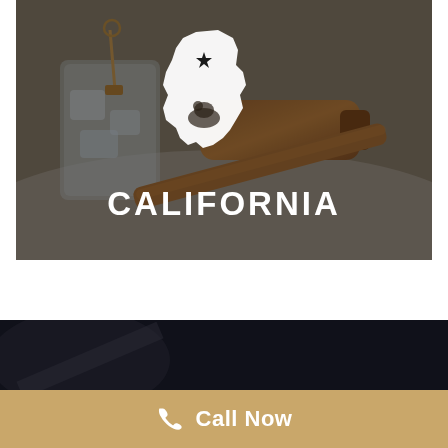[Figure (photo): Hero image showing a judge's wooden gavel alongside a glass with ice and keys, overlaid with a white California state silhouette icon with a star and bear, and the text CALIFORNIA in white block letters. Dark semi-transparent overlay on the photo.]
[Figure (photo): Dark section showing partial background image, dark near-black background.]
Call Now